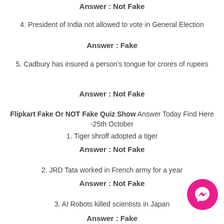Answer : Not Fake
4. President of India not allowed to vote in General Election
Answer : Fake
5. Cadbury has insured a person's tongue for crores of rupees
Answer : Not Fake
Flipkart Fake Or NOT Fake Quiz Show Answer Today Find Here -25th October
1. Tiger shroff adopted a tiger
Answer : Not Fake
2. JRD Tata worked in French army for a year
Answer : Not Fake
3. AI Robots killed scientists in Japan
Answer : Fake